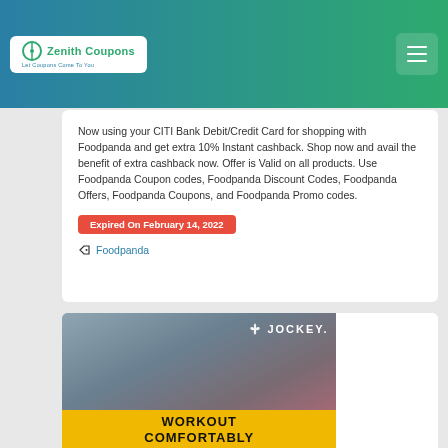Zenith Coupons — Let Coupons Come To You
Now using your CITI Bank Debit/Credit Card for shopping with Foodpanda and get extra 10% Instant cashback. Shop now and avail the benefit of extra cashback now. Offer is Valid on all products. Use Foodpanda Coupon codes, Foodpanda Discount Codes, Foodpanda Offers, Foodpanda Coupons, and Foodpanda Promo codes.
Expired On February 14, 2022
Foodpanda
[Figure (photo): Jockey brand advertisement showing a woman in a pink workout outfit with text WORKOUT COMFORTABLY on a yellow background]